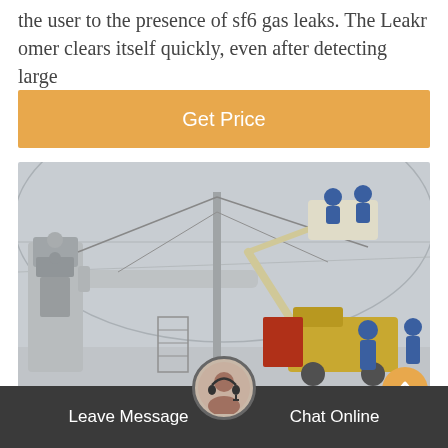the user to the presence of sf6 gas leaks. The Leakr omer clears itself quickly, even after detecting large
[Figure (other): Button/banner with orange background and white text reading 'Get Price']
[Figure (photo): Workers in blue coveralls on a boom lift at an electrical substation, working on high-voltage equipment. Heavy industrial machinery and yellow trucks visible in background.]
Leave Message   Chat Online